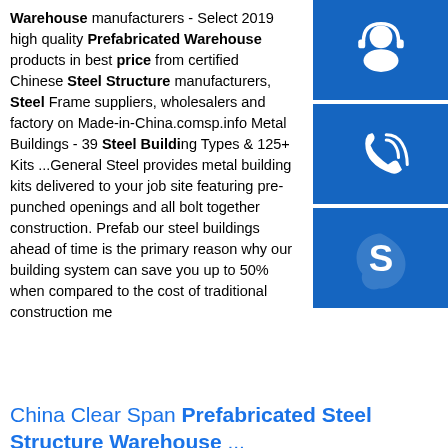Warehouse manufacturers - Select 2019 high quality Prefabricated Warehouse products in best price from certified Chinese Steel Structure manufacturers, Steel Frame suppliers, wholesalers and factory on Made-in-China.comsp.info Metal Buildings - 39 Steel Building Types & 125+ Kits ...General Steel provides metal building kits delivered to your job site featuring pre-punched openings and all bolt together construction. Prefabricating our steel buildings ahead of time is the primary reason why our building system can save you up to 50% when compared to the cost of traditional construction me...
[Figure (illustration): Blue button with headset/customer support icon]
[Figure (illustration): Blue button with phone/call icon]
[Figure (illustration): Blue button with Skype icon]
China Clear Span Prefabricated Steel Structure Warehouse ...
Prefabricated Steel Warehouse, Steel Structure Warehouse, Prefab Steel Structure Shed manufacturer / supplier in
[Figure (photo): Steel structure tower/antenna structure against blue sky with clouds]